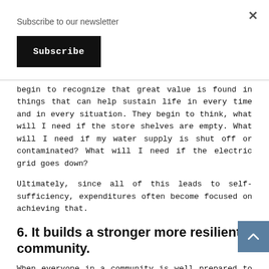Subscribe to our newsletter
Subscribe
begin to recognize that great value is found in things that can help sustain life in every time and in every situation. They begin to think, what will I need if the store shelves are empty. What will I need if my water supply is shut off or contaminated? What will I need if the electric grid goes down?
Ultimately, since all of this leads to self-sufficiency, expenditures often become focused on achieving that.
6. It builds a stronger more resilient community.
When everyone in a community is well prepared to survive a potential disaster, it increases individual survivability. If your neighbor is hungry, starving and scared, he is much more likely to try and take what you have. Hungry people are desperate people.